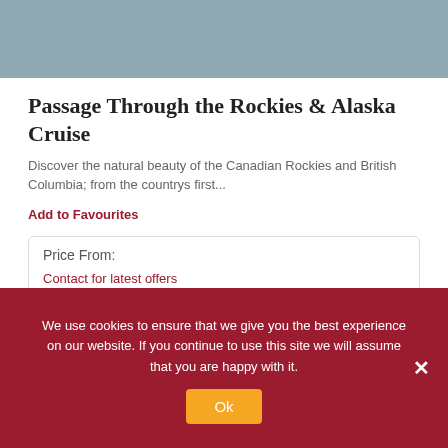[Figure (photo): Partial view of a scenic landscape photo (mountains or water), cropped at top of card]
Passage Through the Rockies & Alaska Cruise
Discover the natural beauty of the Canadian Rockies and British Columbia; from the countrys first...
Add to Favourites
Price From:
Contact for latest offers
Select »
We use cookies to ensure that we give you the best experience on our website. If you continue to use this site we will assume that you are happy with it.